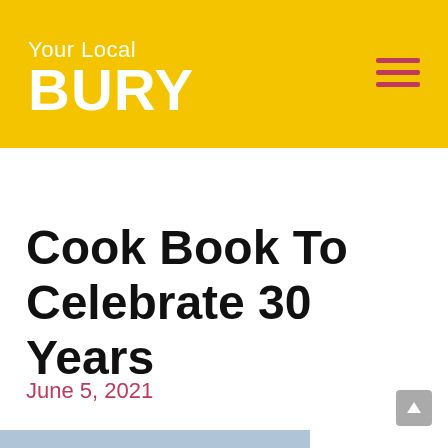Your Local BURY
Cook Book To Celebrate 30 Years
June 5, 2021